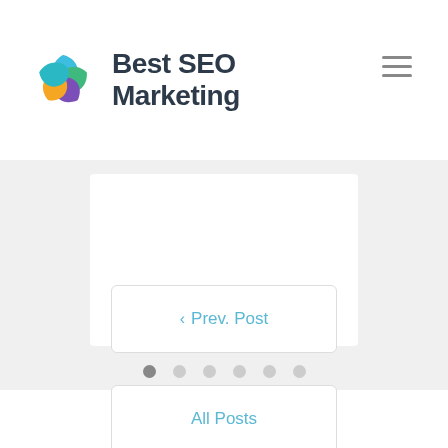Best SEO Marketing
[Figure (screenshot): Slider/carousel section with a white card on grey background and pagination dots below]
< Prev. Post
All Posts